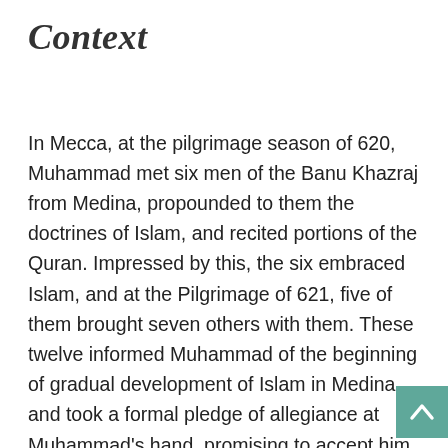Context
In Mecca, at the pilgrimage season of 620, Muhammad met six men of the Banu Khazraj from Medina, propounded to them the doctrines of Islam, and recited portions of the Quran. Impressed by this, the six embraced Islam, and at the Pilgrimage of 621, five of them brought seven others with them. These twelve informed Muhammad of the beginning of gradual development of Islam in Medina, and took a formal pledge of allegiance at Muhammad’s hand, promising to accept him as a prophet, to worship none but one God, and to renounce certain sins such as theft, adultery, and murder. This is known as the “First Pledge of al-Aqaba”. At their request, Muhammad sent with them Mus’ab ibn ‘Umair to teach them the instructions of Islam. Biographers have recorded the considerable success of